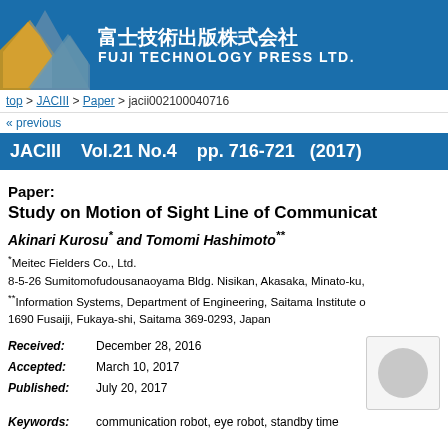[Figure (logo): Fuji Technology Press Ltd. logo with mountain graphic and Japanese/English text on blue background]
top > JACIII > Paper > jacii002100040716
« previous
JACIII   Vol.21 No.4   pp. 716-721  (2017)
Paper:
Study on Motion of Sight Line of Communicat...
Akinari Kurosu* and Tomomi Hashimoto**
*Meitec Fielders Co., Ltd.
8-5-26 Sumitomofudousanaoyama Bldg. Nisikan, Akasaka, Minato-ku,
**Information Systems, Department of Engineering, Saitama Institute o...
1690 Fusaiji, Fukaya-shi, Saitama 369-0293, Japan
Received: December 28, 2016
Accepted: March 10, 2017
Published: July 20, 2017
Keywords: communication robot, eye robot, standby time